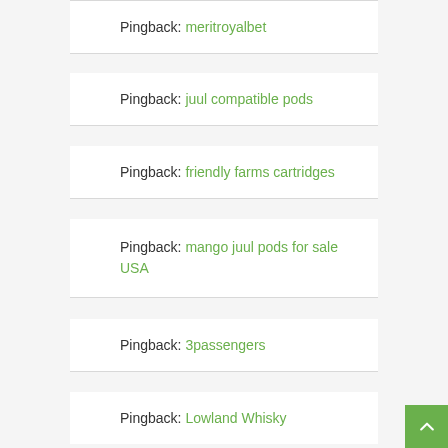Pingback: meritroyalbet
Pingback: juul compatible pods
Pingback: friendly farms cartridges
Pingback: mango juul pods for sale USA
Pingback: 3passengers
Pingback: Lowland Whisky